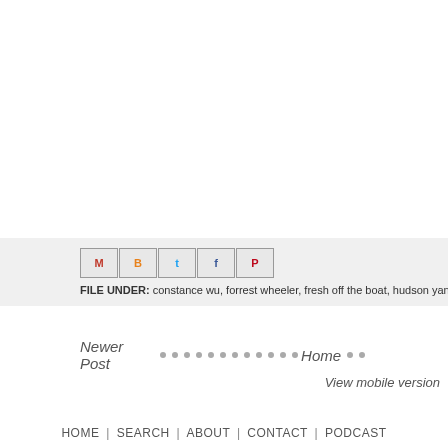[Figure (other): Social sharing icon buttons: Gmail, Blogger, Twitter, Facebook, Pinterest]
FILE UNDER: constance wu, forrest wheeler, fresh off the boat, hudson yang, ian...
Newer Post
Home
View mobile version
HOME | SEARCH | ABOUT | CONTACT | PODCAST